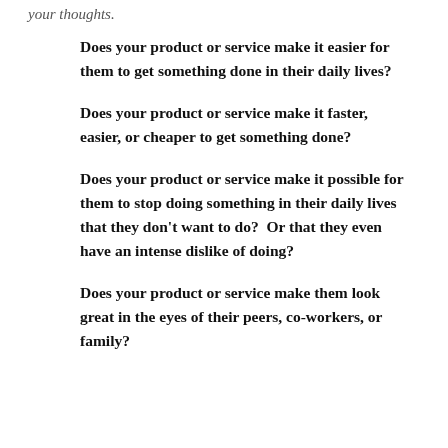your thoughts.
Does your product or service make it easier for them to get something done in their daily lives?
Does your product or service make it faster, easier, or cheaper to get something done?
Does your product or service make it possible for them to stop doing something in their daily lives that they don’t want to do?  Or that they even have an intense dislike of doing?
Does your product or service make them look great in the eyes of their peers, co-workers, or family?